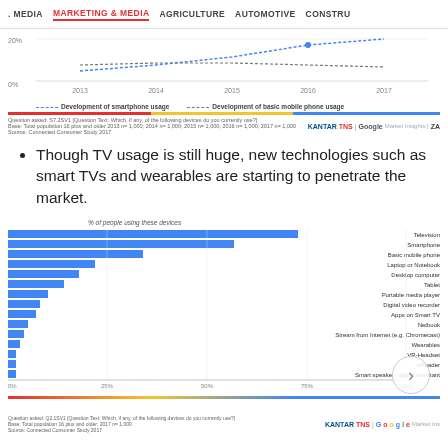. MEDIA   MARKETING & MEDIA   AGRICULTURE   AUTOMOTIVE   CONSTRU
[Figure (line-chart): Partial line chart showing development of smartphone usage and basic mobile phone usage from 2013 to 2017, with legend below. Y-axis shows 0% and 20%.]
Though TV usage is still huge, new technologies such as smart TVs and wearables are starting to penetrate the market.
[Figure (bar-chart): % of people using these devices]